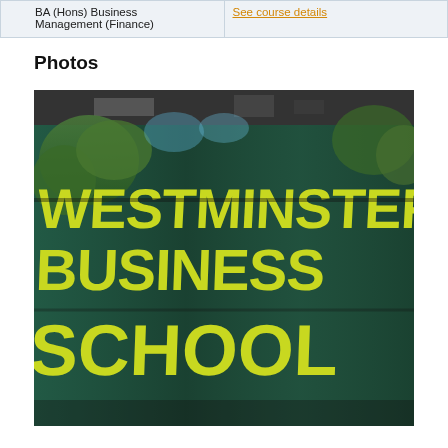| Course | Link |
| --- | --- |
| BA (Hons) Business Management (Finance) | See course details |
Photos
[Figure (photo): Exterior glass facade of Westminster Business School building with large yellow lettering reading WESTMINSTER BUSINESS SCHOOL, surrounded by trees and dark architectural framing.]